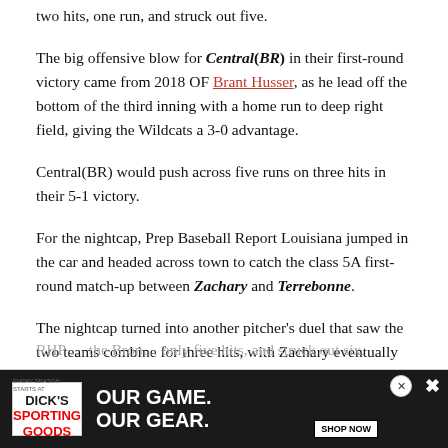two hits, one run, and struck out five.
The big offensive blow for Central(BR) in their first-round victory came from 2018 OF Brant Husser, as he lead off the bottom of the third inning with a home run to deep right field, giving the Wildcats a 3-0 advantage.
Central(BR) would push across five runs on three hits in their 5-1 victory.
For the nightcap, Prep Baseball Report Louisiana jumped in the car and headed across town to catch the class 5A first-round match-up between Zachary and Terrebonne.
The nightcap turned into another pitcher's duel that saw the two teams combine for three hits, with Zachary eventually pulling out the victory 1-0.
[Figure (other): Advertisement banner for Dick's Sporting Goods: 'OUR GAME. OUR GEAR.' with SHOP NOW button and photo of baseball player]
RHP … the Bron… only five hits, and struck out six.